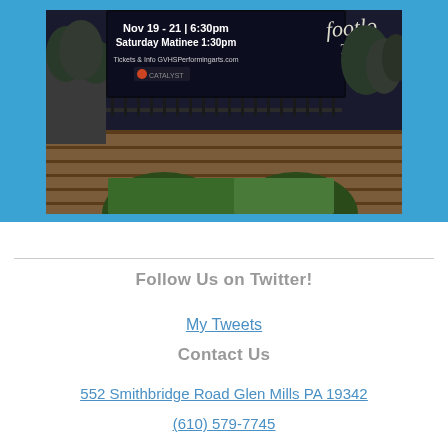[Figure (photo): Photograph of an outdoor electronic scoreboard/sign showing 'Nov 19 - 21 | 6:30pm Saturday Matinee 1:30pm Tickets & Info GVHSPerformingarts.com' with a Catalyst logo, mounted on a stone arch bridge structure with trees in background]
Follow Us on Twitter!
My Tweets
Contact Us
552 Smithbridge Road Glen Mills PA 19342
(610) 579-7745